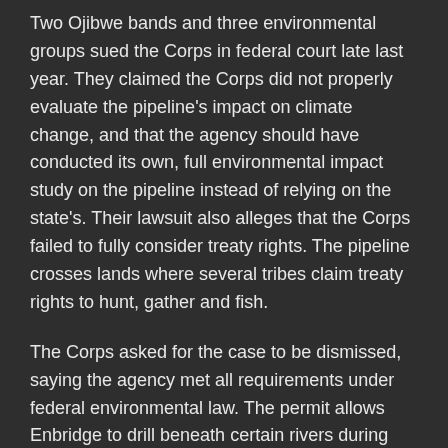Two Ojibwe bands and three environmental groups sued the Corps in federal court late last year. They claimed the Corps did not properly evaluate the pipeline's impact on climate change, and that the agency should have conducted its own, full environmental impact study on the pipeline instead of relying on the state's. Their lawsuit also alleges that the Corps failed to fully consider treaty rights. The pipeline crosses lands where several tribes claim treaty rights to hunt, gather and fish.
The Corps asked for the case to be dismissed, saying the agency met all requirements under federal environmental law. The permit allows Enbridge to drill beneath certain rivers during construction and discharge dredged material.
The Minnesota segment of the pipeline is more than 60 per cent complete. The Wisconsin and Canadian sections are